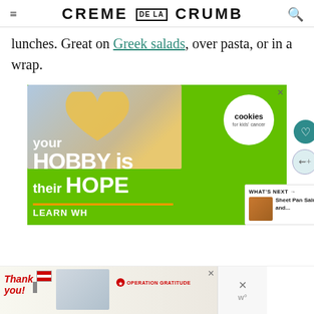CREME DE LA CRUMB
lunches. Great on Greek salads, over pasta, or in a wrap.
[Figure (photo): Advertisement for Cookies for Kids Cancer: A pair of hands holding a heart-shaped cookie; green background with text 'your HOBBY is their HOPE' and 'LEARN WH...' with Cookies for Kids Cancer circular logo]
[Figure (photo): Bottom advertisement banner: Operation Gratitude ad with thank you note imagery and people holding packages]